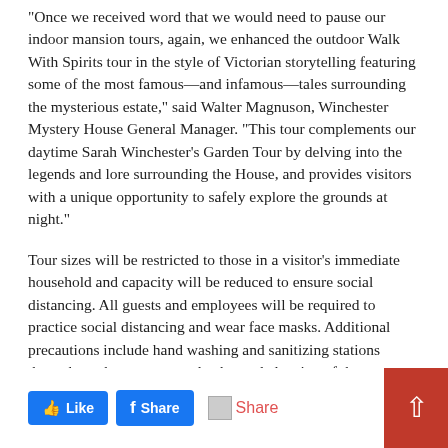"Once we received word that we would need to pause our indoor mansion tours, again, we enhanced the outdoor Walk With Spirits tour in the style of Victorian storytelling featuring some of the most famous—and infamous—tales surrounding the mysterious estate," said Walter Magnuson, Winchester Mystery House General Manager. "This tour complements our daytime Sarah Winchester's Garden Tour by delving into the legends and lore surrounding the House, and provides visitors with a unique opportunity to safely explore the grounds at night."
Tour sizes will be restricted to those in a visitor's immediate household and capacity will be reduced to ensure social distancing. All guests and employees will be required to practice social distancing and wear face masks. Additional precautions include hand washing and sanitizing stations throughout the property and enhanced cleaning of the estate.